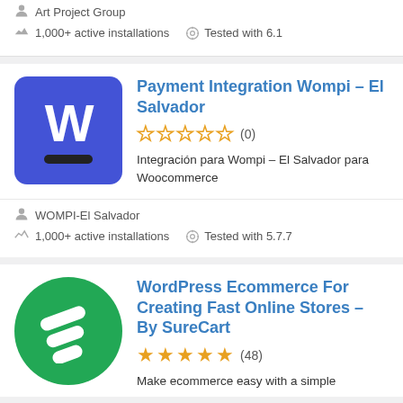Art Project Group
1,000+ active installations   Tested with 6.1
Payment Integration Wompi – El Salvador
☆☆☆☆☆ (0)
Integración para Wompi – El Salvador para Woocommerce
WOMPI-El Salvador
1,000+ active installations   Tested with 5.7.7
WordPress Ecommerce For Creating Fast Online Stores – By SureCart
★★★★★ (48)
Make ecommerce easy with a simple